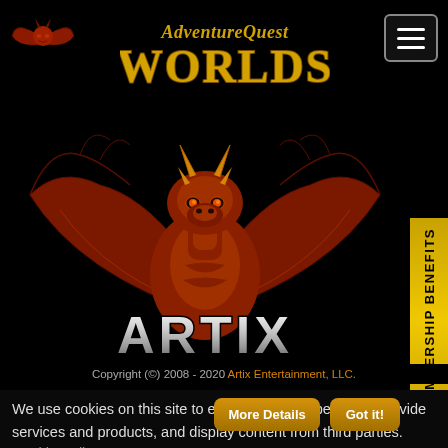[Figure (logo): Small red winged bat/dragon logo on the top left]
[Figure (logo): AdventureQuest Worlds gold fantasy logo text in center header]
[Figure (logo): Hamburger menu icon top right, grey bordered box with three white lines]
[Figure (illustration): Large red/orange/gold dragon mascot with spread wings above the word ARTIX in large metallic letters]
Copyright (c) 2008 - 2020 Artix Entertainment, LLC.
We use cookies on this site to enhance your experience, provide services and products, and display content from third parties. Cookie Policy.